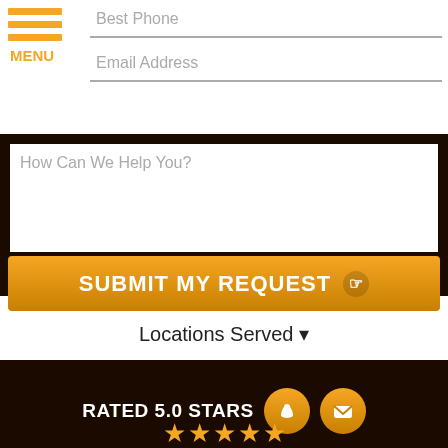Best Phone
Email Address
How Can We Help You?
SUBMIT MY REQUEST
Locations Served ▾
RATED 5.0 STARS